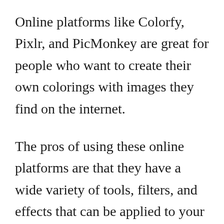Online platforms like Colorfy, Pixlr, and PicMonkey are great for people who want to create their own colorings with images they find on the internet.
The pros of using these online platforms are that they have a wide variety of tools, filters, and effects that can be applied to your work. They also provide templates and instructions for creating your own colorings.
The cons of using these online platforms is